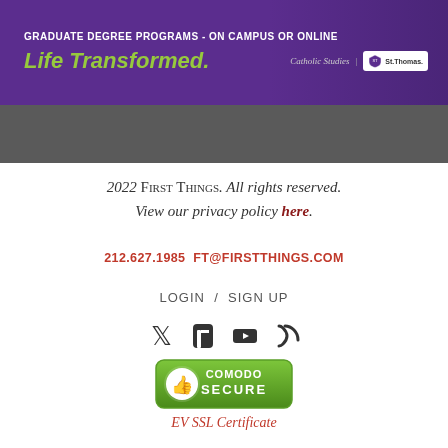[Figure (illustration): University of St. Thomas Catholic Studies graduate degree programs banner ad with purple background, green 'Life Transformed.' tagline, and St. Thomas shield logo]
2022 FIRST THINGS. All rights reserved. View our privacy policy here.
212.627.1985 FT@FIRSTTHINGS.COM
LOGIN / SIGN UP
[Figure (illustration): Social media icons: Twitter, Facebook, YouTube, RSS]
[Figure (logo): Comodo Secure badge with green shield and thumbs up icon]
EV SSL Certificate